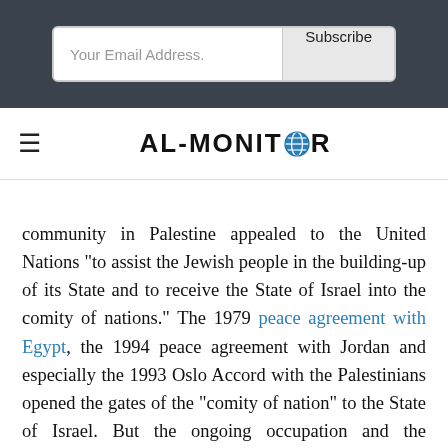[Figure (screenshot): Email subscription input box with 'Your Email Address.' placeholder and 'Subscribe' button on a dark navy background]
[Figure (logo): AL-MONITOR logo with a globe icon replacing the O, with hamburger menu icon to the left]
community in Palestine appealed to the United Nations “to assist the Jewish people in the building-up of its State and to receive the State of Israel into the comity of nations.” The 1979 peace agreement with Egypt, the 1994 peace agreement with Jordan and especially the 1993 Oslo Accord with the Palestinians opened the gates of the “comity of nation” to the State of Israel. But the ongoing occupation and the settlement enterprise in those occupied lands are closing those gates in Israel’s face. A good